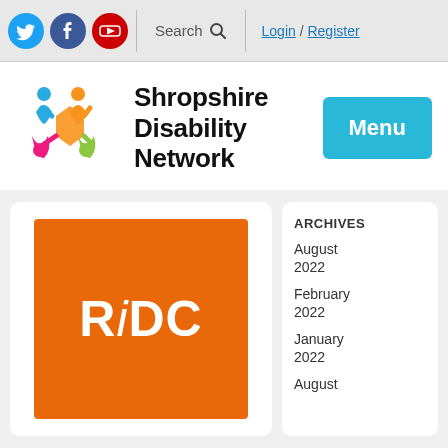[Figure (screenshot): Top navigation bar with Twitter, Facebook, YouTube social icons, a Search field with magnifying glass icon, and Login / Register links]
[Figure (logo): Shropshire Disability Network logo: colorful figure icons in blue, orange, pink, green surrounding a central orange cross shape]
Shropshire Disability Network
[Figure (other): Cyan/teal Menu button]
[Figure (other): RiDC orange square logo image inside a white card]
ARCHIVES
August 2022
February 2022
January 2022
August